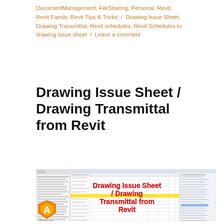DocumentManagement, FileSharing, Personal, Revit, Revit Family, Revit Tips & Tricks / Drawing Issue Sheet, Drawing Transmittal, Revit schedules, Revit Schedules to drawing issue sheet / Leave a comment
Drawing Issue Sheet / Drawing Transmittal from Revit
[Figure (screenshot): Screenshot of a Revit Drawing Issue Sheet / Drawing Transmittal document with red bold overlay text reading 'Drawing Issue Sheet / Drawing Transmittal from Revit', a yellow highlighted row, and an orange/yellow 'A' logo for allcourts.com in the bottom left corner.]